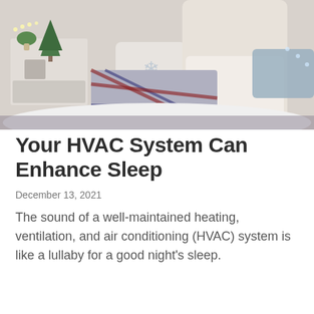[Figure (photo): Woman in a cream knit sweater and plaid pajama pants sitting cross-legged on a bed with white fluffy bedding, holding a phone. Nightstand with small Christmas tree and plant visible on the left. Winter/holiday bedroom scene.]
Your HVAC System Can Enhance Sleep
December 13, 2021
The sound of a well-maintained heating, ventilation, and air conditioning (HVAC) system is like a lullaby for a good night's sleep.